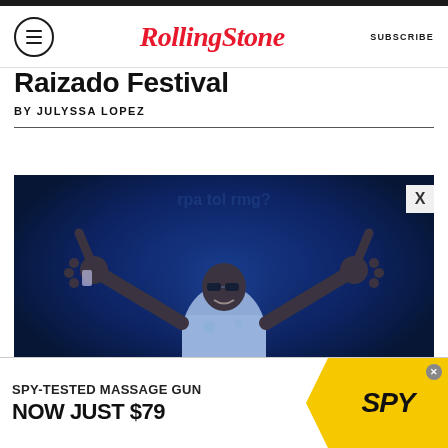RollingStone — SUBSCRIBE
Raizado Festival
BY JULYSSA LOPEZ
[Figure (photo): Performer on stage bathed in blue light, wearing white shirt, pointing both hands outward toward camera in a dark venue]
SPY-TESTED MASSAGE GUN NOW JUST $79